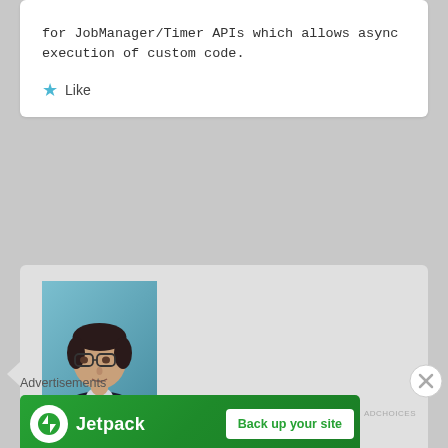for JobManager/Timer APIs which allows async execution of custom code.
Like
[Figure (photo): Headshot photo of Vinny Carpenter, a man with glasses wearing a dark jacket, against a light blue background]
Vinny Carpenter on September 1, 2005 at 3:03 pm
said:
Hi Dmitri and thanks. The WorkManager/Timer API's are next on my radar and have been eagerly waiting since I read your article on dev2dev.
Advertisements
[Figure (screenshot): Jetpack advertisement banner with green background showing Jetpack logo and 'Back up your site' button]